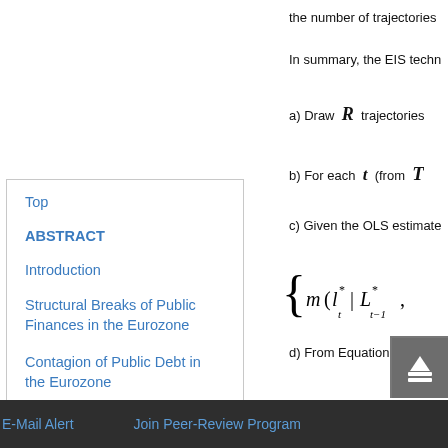the number of trajectories
In summary, the EIS techn
a) Draw R trajectories
b) For each t (from T
c) Given the OLS estimate
d) From Equation (
Top
ABSTRACT
Introduction
Structural Breaks of Public Finances in the Eurozone
Contagion of Public Debt in the Eurozone
E-Mail Alert    Join Peer-Review Program